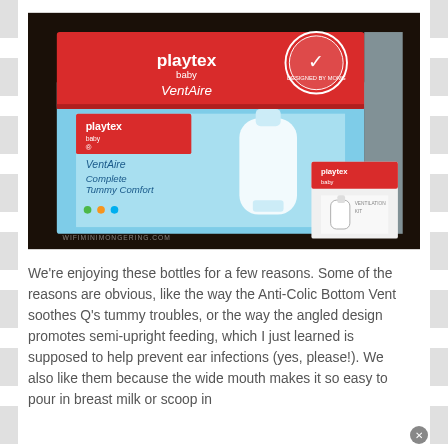[Figure (photo): Photo of Playtex baby VentAire product boxes on a dark table. The large red and light blue box shows 'playtex baby VentAire Complete Tummy Comfort' with a baby bottle image. A smaller playtex baby box is visible to the right.]
We're enjoying these bottles for a few reasons. Some of the reasons are obvious, like the way the Anti-Colic Bottom Vent soothes Q's tummy troubles, or the way the angled design promotes semi-upright feeding, which I just learned is supposed to help prevent ear infections (yes, please!). We also like them because the wide mouth makes it so easy to pour in breast milk or scoop in